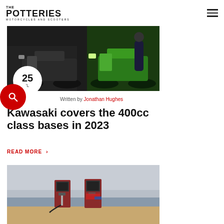The Potteries Motorcycles and Scooters
[Figure (photo): Two motorcycles parked side by side — a dark naked bike and a bright green sportbike, with a person standing behind them]
25 'L
Written by Jonathan Hughes
Kawasaki covers the 400cc class bases in 2023
READ MORE >
[Figure (photo): Two vintage red/rusty gas pump stations on a beach with an overcast sky]